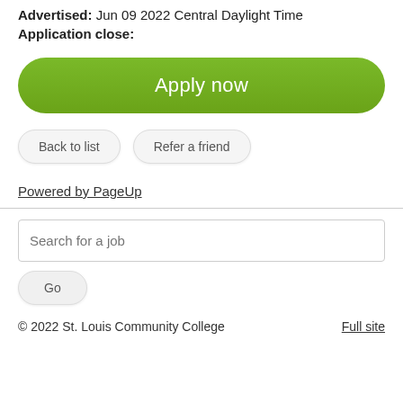Advertised: Jun 09 2022 Central Daylight Time
Application close:
Apply now
Back to list
Refer a friend
Powered by PageUp
Search for a job
Go
© 2022 St. Louis Community College    Full site